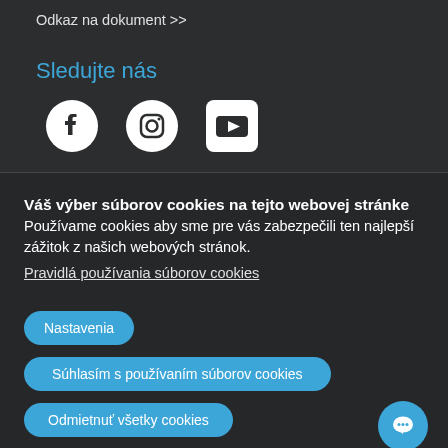Odkaz na dokument >>
Sledujte nás
[Figure (illustration): Social media icons: Facebook, Instagram, YouTube]
Váš výber súborov cookies na tejto webovej stránke
Používame cookies aby sme pre vás zabezpečili ten najlepší zážitok z našich webových stránok.
Pravidlá používania súborov cookies
Nastavenia
Súhlasím s používaním súborov cookies
Odmietnuť všetky cookies